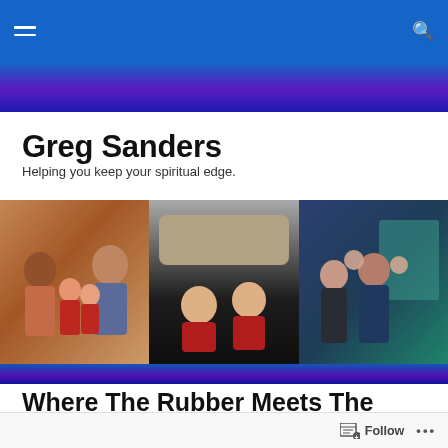Greg Sanders — navigation bar with hamburger menu and search icon
Greg Sanders
Helping you keep your spiritual edge.
[Figure (photo): Three family photos side by side: left shows a family with two young children in red Christmas clothes indoors; center shows two young children in red pajamas on a dark floor; right shows a man and woman on stage holding two young children.]
Where The Rubber Meets The Road
Follow  •••